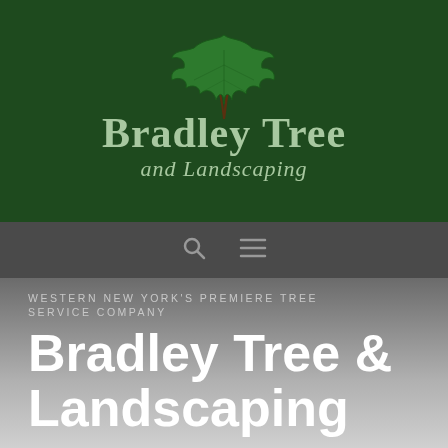[Figure (logo): Bradley Tree and Landscaping logo with green maple leaf on dark green background, featuring company name in serif font]
[Figure (screenshot): Navigation bar with search icon and hamburger menu icon on dark grey background]
WESTERN NEW YORK'S PREMIERE TREE SERVICE COMPANY
Bradley Tree & Landscaping